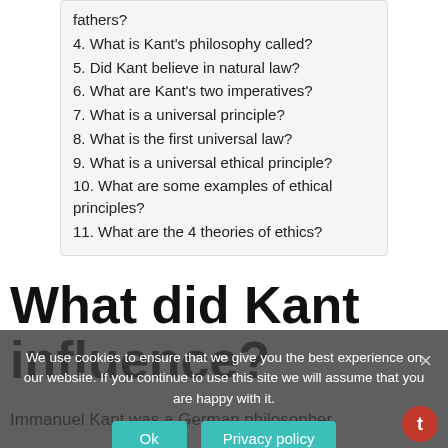fathers?
4. What is Kant's philosophy called?
5. Did Kant believe in natural law?
6. What are Kant's two imperatives?
7. What is a universal principle?
8. What is the first universal law?
9. What is a universal ethical principle?
10. What are some examples of ethical principles?
11. What are the 4 theories of ethics?
What did Kant influence?
Immanuel Kant was a German philosopher
We use cookies to ensure that we give you the best experience on our website. If you continue to use this site we will assume that you are happy with it.